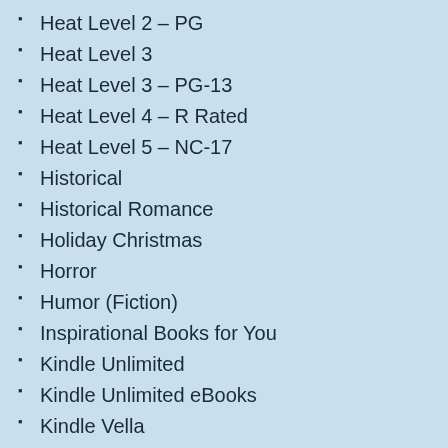Heat Level 2 – PG
Heat Level 3
Heat Level 3 – PG-13
Heat Level 4 – R Rated
Heat Level 5 – NC-17
Historical
Historical Romance
Holiday Christmas
Horror
Humor (Fiction)
Inspirational Books for You
Kindle Unlimited
Kindle Unlimited eBooks
Kindle Vella
Kindle Vella Serial
Limited Time Free Promotion
Magic
Military Science Fiction
Mystery
Mystery/Suspense
Mystery/Thriller